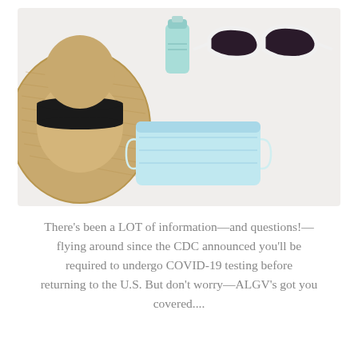[Figure (photo): Overhead flat-lay of travel and COVID-19 safety items on a white surface: a tan straw hat with a black band (left), a small blue/teal hand sanitizer bottle (center-top), white cat-eye sunglasses (top-right), and a light blue disposable face mask (center).]
There's been a LOT of information—and questions!—flying around since the CDC announced you'll be required to undergo COVID-19 testing before returning to the U.S. But don't worry—ALGV's got you covered....